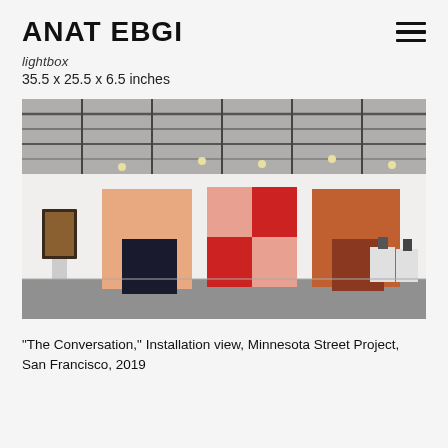ANAT EBGI
lightbox
35.5 x 25.5 x 6.5 inches
[Figure (photo): Gallery installation view showing a large white industrial space with exposed steel ceiling trusses and track lighting. On the white walls hang four large square paintings — one small dark framed piece on the left, then three large abstract geometric works featuring peach/salmon and dark navy, red and salmon, and brown/rust and brown color blocks. Two white pedestals on the right hold small sculptures. The floor is polished concrete.]
"The Conversation," Installation view, Minnesota Street Project, San Francisco, 2019